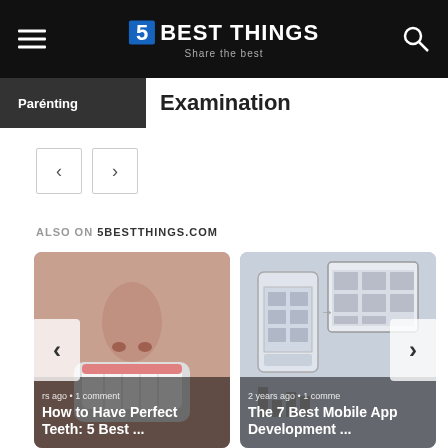5 BEST THINGS — Share the best
Parenting — Examination
ALSO ON 5BESTTHINGS.COM
[Figure (photo): Close-up of a smiling person with perfect white teeth. Overlay text: 'rs ago • 1 comment' and 'How to Have Perfect Teeth: 5 Best ...' Left arrow navigation button visible.]
[Figure (photo): Mobile app development wireframes and sketches on paper. Overlay text: '2 years ago • 1 comme' and 'The 7 Best Mobile App Development ...' Right arrow navigation button visible.]